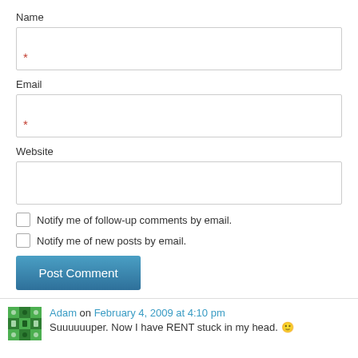Name
Email
Website
Notify me of follow-up comments by email.
Notify me of new posts by email.
Post Comment
Adam on February 4, 2009 at 4:10 pm
Suuuuuuper. Now I have RENT stuck in my head. 🙂